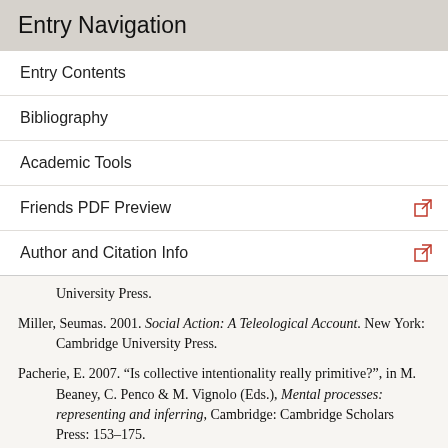Entry Navigation
Entry Contents
Bibliography
Academic Tools
Friends PDF Preview
Author and Citation Info
University Press.
Miller, Seumas. 2001. Social Action: A Teleological Account. New York: Cambridge University Press.
Pacherie, E. 2007. “Is collective intentionality really primitive?”, in M. Beaney, C. Penco & M. Vignolo (Eds.), Mental processes: representing and inferring, Cambridge: Cambridge Scholars Press: 153–175.
Peterssen, Björn. 2007. “Collectivity and Circularity”. Journal of Philosophy 104(3): 138–156.
Pettit, Philip. 2001. “Collective Intentions” in N. Naffine